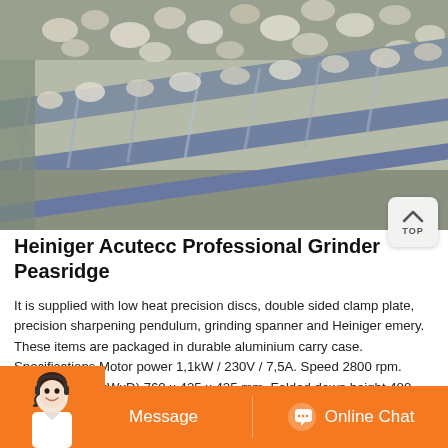[Figure (photo): Photo of a conveyor belt carrying gravel/stone aggregate material, with metal frame structure visible. Appears to be industrial grinding or processing equipment.]
Heiniger Acutecc Professional Grinder Peasridge
It is supplied with low heat precision discs, double sided clamp plate, precision sharpening pendulum, grinding spanner and Heiniger emery. These items are packaged in durable aluminium carry case. Specifications Motor power 1,1kW / 230V / 7,5A. Speed 2800 rpm. Dimensions (HxWxD) 760 x 425 x 425 mm. Folded down height 480 mm. Weight 34
[Figure (other): Person (customer service representative) wearing headset, used as chat/message button icon]
Message
Online Chat